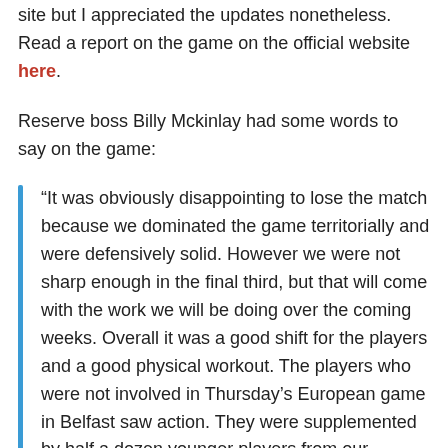site but I appreciated the updates nonetheless. Read a report on the game on the official website here.
Reserve boss Billy Mckinlay had some words to say on the game:
“It was obviously disappointing to lose the match because we dominated the game territorially and were defensively solid. However we were not sharp enough in the final third, but that will come with the work we will be doing over the coming weeks. Overall it was a good shift for the players and a good physical workout. The players who were not involved in Thursday’s European game in Belfast saw action. They were supplemented by half a dozen younger players from our Development Squad.”
On Riise making his debut Mckinlay also said: